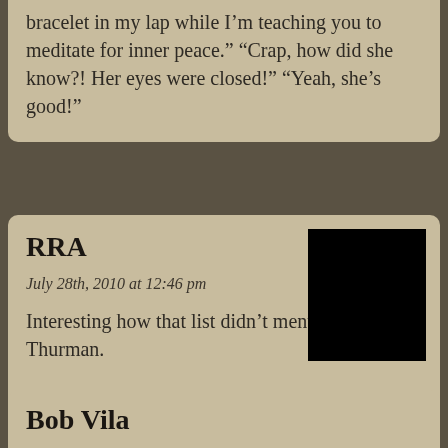bracelet in my lap while I’m teaching you to meditate for inner peace.” “Crap, how did she know?! Her eyes were closed!” “Yeah, she’s good!”
RRA
July 28th, 2010 at 12:46 pm
[Figure (photo): Black square avatar image]
Interesting how that list didn’t mention Uma Thurman.
Bob Vila
July 28th, 2010 at 1:19 pm